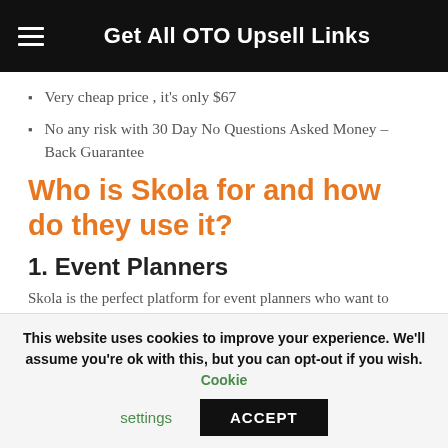Get All OTO Upsell Links
Very cheap price , it's only $67
No any risk with 30 Day No Questions Asked Money – Back Guarantee
Who is Skola for and how do they use it?
1. Event Planners
Skola is the perfect platform for event planners who want to
This website uses cookies to improve your experience. We'll assume you're ok with this, but you can opt-out if you wish. Cookie settings ACCEPT